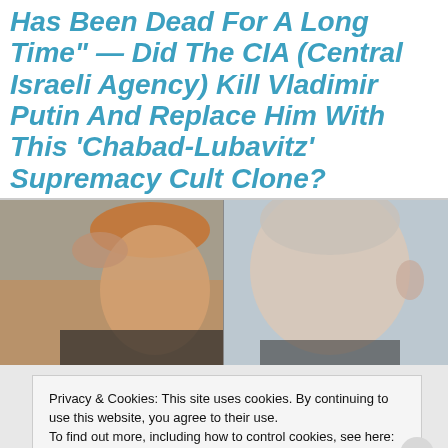Has Been Dead For A Long Time" — Did The CIA (Central Israeli Agency) Kill Vladimir Putin And Replace Him With This ‘Chabad-Lubavitz’ Supremacy Cult Clone?
[Figure (photo): Two side-by-side photos of men, left photo showing a man with reddish-orange hair touching his head, right photo showing the back of a man's head with grey/white hair.]
Privacy & Cookies: This site uses cookies. By continuing to use this website, you agree to their use.
To find out more, including how to control cookies, see here: Cookie Policy
Close and accept